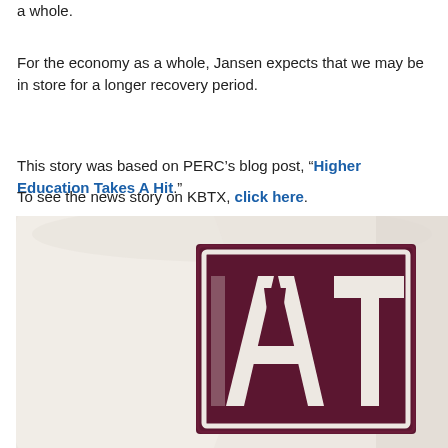a whole.
For the economy as a whole, Jansen expects that we may be in store for a longer recovery period.
This story was based on PERC’s blog post, “Higher Education Takes A Hit.”
To see the news story on KBTX, click here.
[Figure (photo): Close-up photo of a Texas A&M University mug showing the ATM logo in maroon on a beige/cream colored curved mug surface.]